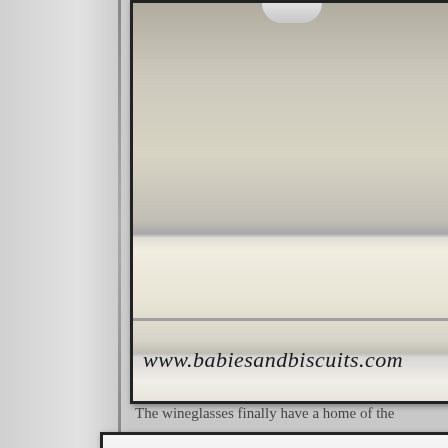[Figure (photo): Close-up photo of a kitchen counter or cabinet area with ceiling light and watermark 'www.babiesandbiscuits.com' overlaid]
The wineglasses finally have a home of the
[Figure (photo): Photo of white kitchen cabinet doors with decorative knobs and watermark 'www.babie...' partially visible]